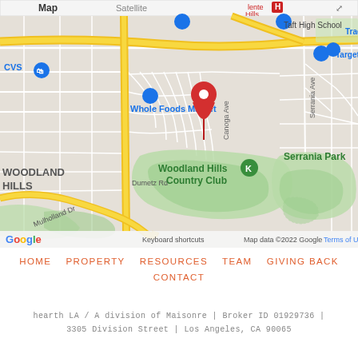[Figure (map): Google Maps screenshot showing Woodland Hills, CA area. Visible landmarks include CVS, Whole Foods Market, Trader Joe's, Target, Taft High School, Woodland Hills Country Club, Serrania Park, and a red location pin marker in the center. Map controls including zoom (+/-) and Street View pegman icon visible on right side. Includes Google logo, Keyboard shortcuts, Map data ©2022 Google, and Terms of Use labels.]
HOME   PROPERTY   RESOURCES   TEAM   GIVING BACK   CONTACT
hearth LA / A division of Maisonre | Broker ID 01929736 | 3305 Division Street | Los Angeles, CA 90065